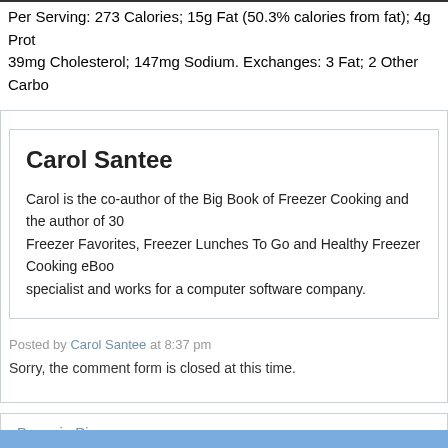Per Serving: 273 Calories; 15g Fat (50.3% calories from fat); 4g Protein; 39mg Cholesterol; 147mg Sodium. Exchanges: 3 Fat; 2 Other Carbo
Carol Santee
Carol is the co-author of the Big Book of Freezer Cooking and the author of 30 Freezer Favorites, Freezer Lunches To Go and Healthy Freezer Cooking eBoo specialist and works for a computer software company.
Posted by Carol Santee at 8:37 pm
Sorry, the comment form is closed at this time.
Brownie Pie
© 2019 30 Day Gourmet, Inc. • Privacy Policy • Terms of Use